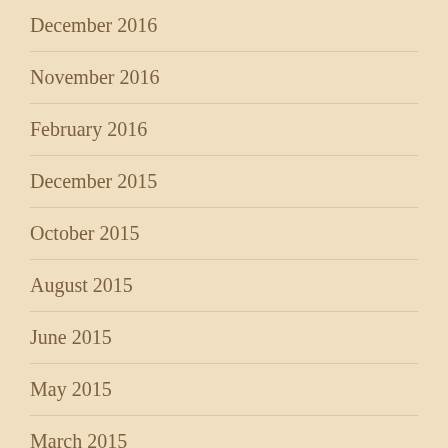December 2016
November 2016
February 2016
December 2015
October 2015
August 2015
June 2015
May 2015
March 2015